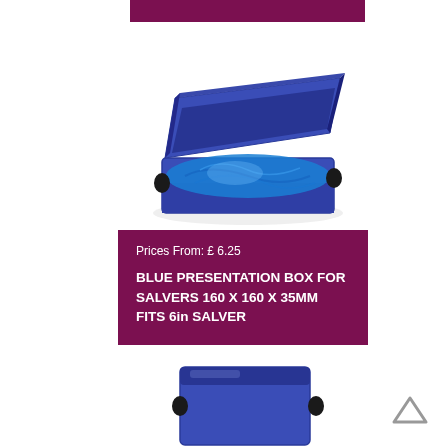[Figure (photo): Blue magnetic presentation box open showing blue satin lining interior, viewed from above at an angle]
Prices From: £ 6.25
BLUE PRESENTATION BOX FOR SALVERS 160 X 160 X 35MM FITS 6in SALVER
[Figure (photo): Bottom portion of a blue presentation box, closed lid visible from the side]